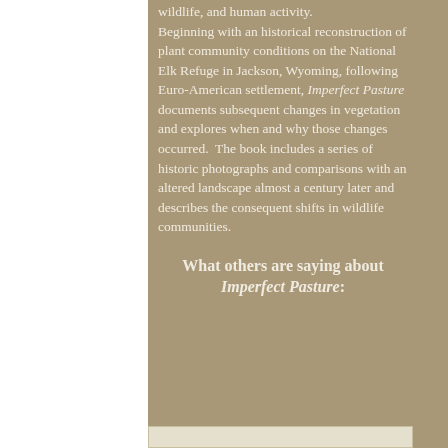wildlife, and human activity. Beginning with an historical reconstruction of plant community conditions on the National Elk Refuge in Jackson, Wyoming, following Euro-American settlement, Imperfect Pasture documents subsequent changes in vegetation and explores when and why those changes occurred.  The book includes a series of historic photographs and comparisons with an altered landscape almost a century later and describes the consequent shifts in wildlife communities.
What others are saying about Imperfect Pasture: